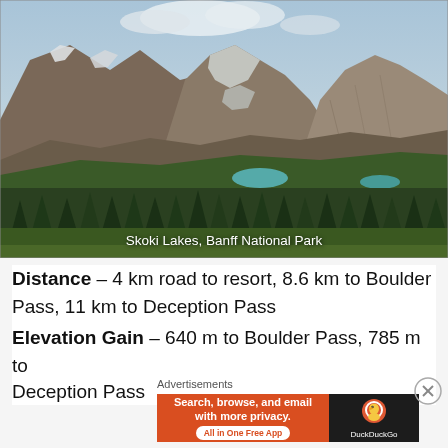[Figure (photo): Mountain landscape with rocky peaks, glaciers, turquoise alpine lakes, and dense conifer forest in the foreground — Skoki Lakes, Banff National Park]
Skoki Lakes, Banff National Park
Distance – 4 km road to resort, 8.6 km to Boulder Pass, 11 km to Deception Pass
Elevation Gain – 640 m to Boulder Pass, 785 m to Deception Pass
Advertisements
[Figure (screenshot): DuckDuckGo advertisement banner: 'Search, browse, and email with more privacy. All in One Free App' with DuckDuckGo logo on dark background]